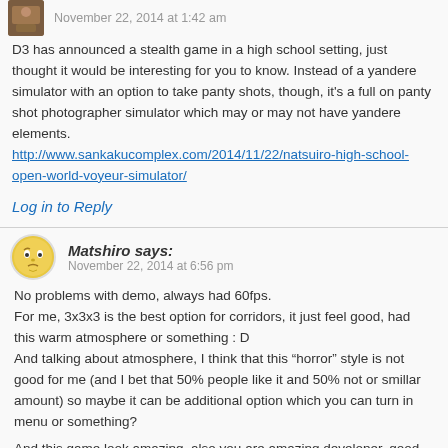November 22, 2014 at 1:42 am
D3 has announced a stealth game in a high school setting, just thought it would be interesting for you to know. Instead of a yandere simulator with an option to take panty shots, though, it's a full on panty shot photographer simulator which may or may not have yandere elements. http://www.sankakucomplex.com/2014/11/22/natsuiro-high-school-open-world-voyeur-simulator/
Log in to Reply
Matshiro says:
November 22, 2014 at 6:56 pm
No problems with demo, always had 60fps.
For me, 3x3x3 is the best option for corridors, it just feel good, had this warm atmosphere or something : D
And talking about atmosphere, I think that this “horror” style is not good for me (and I bet that 50% people like it and 50% not or smillar amount) so maybe it can be additional option which you can turn in menu or something?
And this game look amazing, also you are amazing developer, good luck : D
Log in to Reply